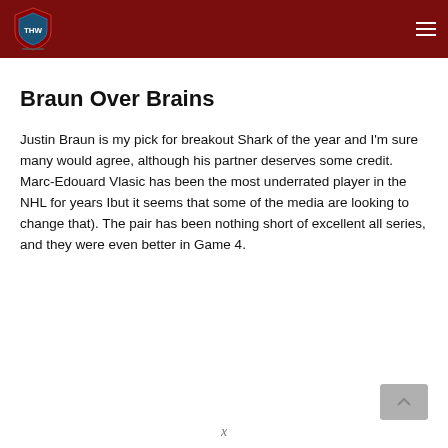THW - The Hockey Writers
Braun Over Brains
Justin Braun is my pick for breakout Shark of the year and I'm sure many would agree, although his partner deserves some credit. Marc-Edouard Vlasic has been the most underrated player in the NHL for years Ibut it seems that some of the media are looking to change that). The pair has been nothing short of excellent all series, and they were even better in Game 4.